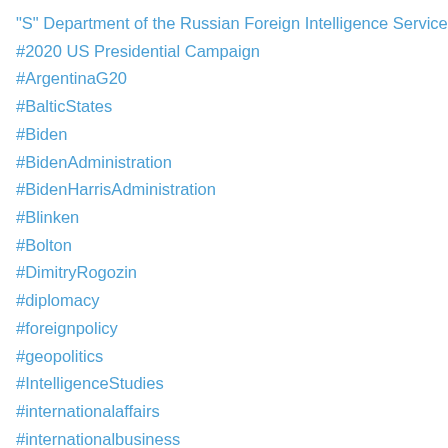"S" Department of the Russian Foreign Intelligence Service
#2020 US Presidential Campaign
#ArgentinaG20
#BalticStates
#Biden
#BidenAdministration
#BidenHarrisAdministration
#Blinken
#Bolton
#DimitryRogozin
#diplomacy
#foreignpolicy
#geopolitics
#IntelligenceStudies
#internationalaffairs
#internationalbusiness
#Kalugin
#Kelly
#Kim Jong-un